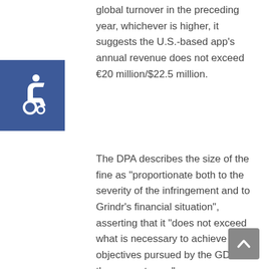global turnover in the preceding year, whichever is higher, it suggests the U.S.-based app's annual revenue does not exceed €20 million/$22.5 million.
[Figure (other): Blue square accessibility icon with wheelchair symbol in white]
The DPA describes the size of the fine as "proportionate both to the severity of the infringement and to Grindr's financial situation", asserting that it "does not exceed what is necessary to achieve the objectives pursued by the GDPR in the present case".
The complaint has taken almost a year to arrive at a final decision owing — at least in part — to Grindr requesting extensions to deadlines on a number of occasions.
It's also worth noting that this investigation was limited to the process Grindr used to obtain consent at the time of the complaint — in 2019